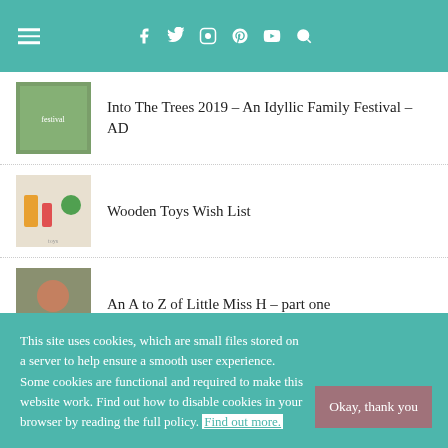Navigation header with hamburger menu and social icons (f, twitter, instagram, pinterest, youtube, search)
Into The Trees 2019 – An Idyllic Family Festival – AD
Wooden Toys Wish List
An A to Z of Little Miss H – part one
My monthly bucket list – March 2015
Fuzzikins Bedtime Bunnies – A...
This site uses cookies, which are small files stored on a server to help ensure a smooth user experience. Some cookies are functional and required to make this website work. Find out how to disable cookies in your browser by reading the full policy. Find out more.